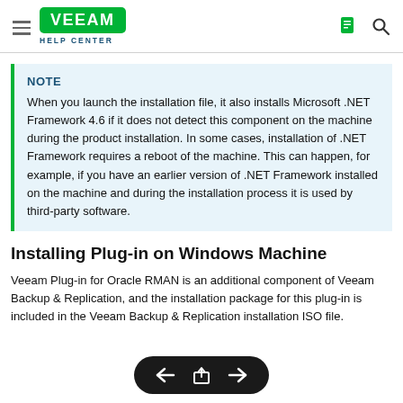Veeam Help Center
NOTE
When you launch the installation file, it also installs Microsoft .NET Framework 4.6 if it does not detect this component on the machine during the product installation. In some cases, installation of .NET Framework requires a reboot of the machine. This can happen, for example, if you have an earlier version of .NET Framework installed on the machine and during the installation process it is used by third-party software.
Installing Plug-in on Windows Machine
Veeam Plug-in for Oracle RMAN is an additional component of Veeam Backup & Replication, and the installation package for this plug-in is included in the Veeam Backup & Replication installation ISO file.